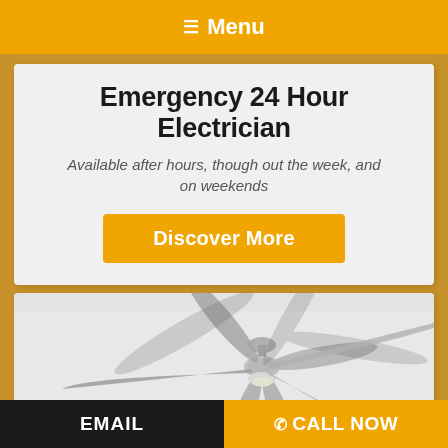≡ Menu
Emergency 24 Hour Electrician
Available after hours, though out the week, and on weekends
Discover More
[Figure (photo): A silver ceiling fan with four blades mounted on a white ceiling, photographed from below at an angle, showing the fan motor housing and light kit.]
EMAIL   ✆ CALL NOW